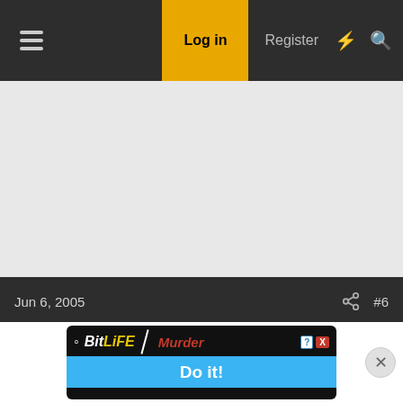Log in  Register
[Figure (screenshot): Grey advertisement placeholder area]
Jun 6, 2005  #6
HatestheEagles084
Cheesehead
This site uses cookies to help personalise content, tailor your experience and to keep you logged in if you register.
By continuing to use this site, you are consenting to our use of cookies.
[Figure (screenshot): BitLife advertisement banner with Murder Do it! promotion]